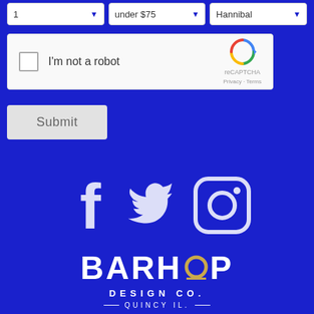[Figure (screenshot): Three dropdown filter boxes at top: first partially visible, 'under $75', and 'Hannibal']
[Figure (screenshot): reCAPTCHA widget with checkbox labeled 'I'm not a robot' and Google reCAPTCHA logo]
[Figure (screenshot): Submit button]
[Figure (logo): Facebook, Twitter, and Instagram social media icons in white on blue background]
[Figure (logo): BARHOP DESIGN CO. QUINCY IL. logo in white on blue background]